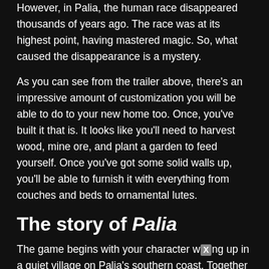However, in Palia, the human race disappeared thousands of years ago. The race was at its highest point, having mastered magic. So, what caused the disappearance is a mystery.
As you can see from the trailer above, there's an impressive amount of customization you will be able to do to your new home too. Once, you've built it that is. It looks like you'll need to harvest wood, mine ore, and plant a garden to feed yourself. Once you've got some solid walls up, you'll be able to furnish it with everything from couches and beds to ornamental lutes.
The story of Palia
The game begins with your character waking up in a quiet village on Palia's southern coast. Together with the rest of the online community, you will forge a new